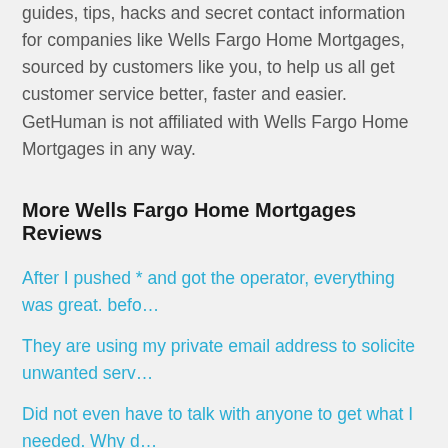guides, tips, hacks and secret contact information for companies like Wells Fargo Home Mortgages, sourced by customers like you, to help us all get customer service better, faster and easier. GetHuman is not affiliated with Wells Fargo Home Mortgages in any way.
More Wells Fargo Home Mortgages Reviews
After I pushed * and got the operator, everything was great. befo…
They are using my private email address to solicite unwanted serv…
Did not even have to talk with anyone to get what I needed. Why d…
Rep. was unable to answer my questions and refused